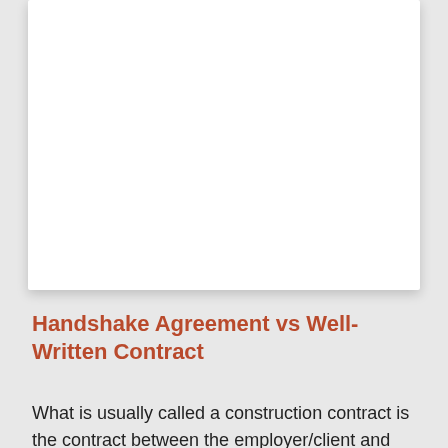Handshake Agreement vs Well-Written Contract
What is usually called a construction contract is the contract between the employer/client and the contractors.